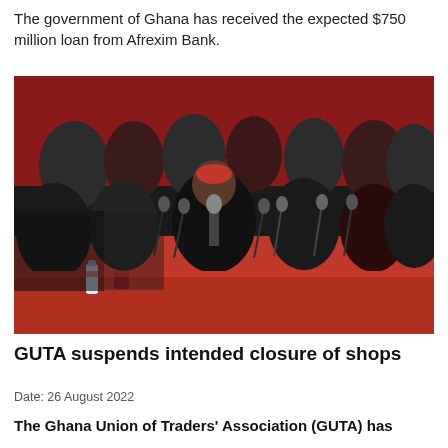The government of Ghana has received the expected $750 million loan from Afrexim Bank.
[Figure (photo): Group of people dressed in red and black seated at a table with multiple microphones, appearing to be at a press conference. A man in a black outfit speaks into a microphone at the center.]
GUTA suspends intended closure of shops
Date: 26 August 2022
The Ghana Union of Traders' Association (GUTA) has